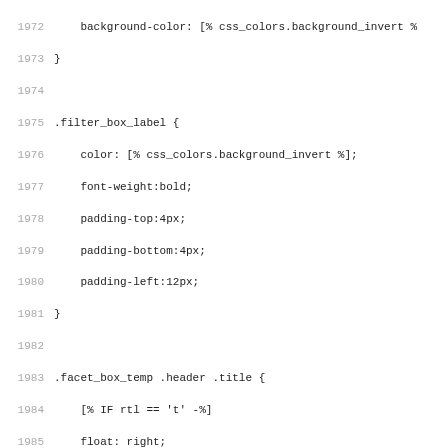[Figure (screenshot): Source code listing showing CSS stylesheet lines 1972-2003 with line numbers in gray and code in dark monospace font. Includes rules for .filter_box_label, .facet_box_temp .header .title, .facet_box_temp h4, and .facet_box_temp .header a.button.]